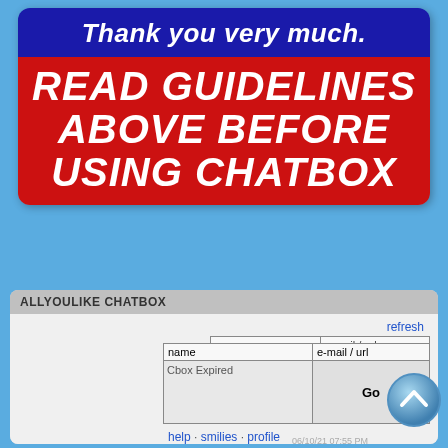Thank you very much.
READ GUIDELINES ABOVE BEFORE USING CHATBOX
ALLYOULIKE CHATBOX
[Figure (screenshot): Cbox chat widget showing expired Cbox form with name, e-mail/url fields, message area, Go button, help/smilies/profile links, and expired message 'This Cbox has expired. Renew it here.']
06/11/21 04:53 PM
Demented Labrador: Requesting The Wyckoff Methodology book, please? Thanks